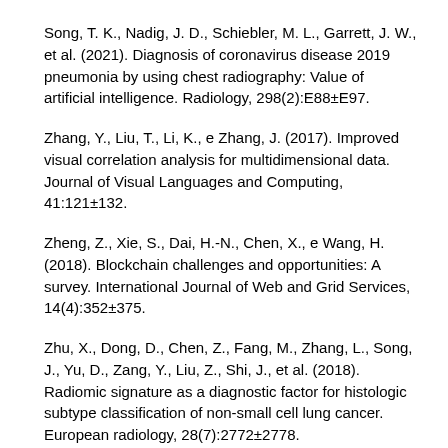Song, T. K., Nadig, J. D., Schiebler, M. L., Garrett, J. W., et al. (2021). Diagnosis of coronavirus disease 2019 pneumonia by using chest radiography: Value of artificial intelligence. Radiology, 298(2):E88±E97.
Zhang, Y., Liu, T., Li, K., e Zhang, J. (2017). Improved visual correlation analysis for multidimensional data. Journal of Visual Languages and Computing, 41:121±132.
Zheng, Z., Xie, S., Dai, H.-N., Chen, X., e Wang, H. (2018). Blockchain challenges and opportunities: A survey. International Journal of Web and Grid Services, 14(4):352±375.
Zhu, X., Dong, D., Chen, Z., Fang, M., Zhang, L., Song, J., Yu, D., Zang, Y., Liu, Z., Shi, J., et al. (2018). Radiomic signature as a diagnostic factor for histologic subtype classification of non-small cell lung cancer. European radiology, 28(7):2772±2778.
Zwanenburg, A., Vallieres, M., Abdalah, M. A., Aerts, H. J.